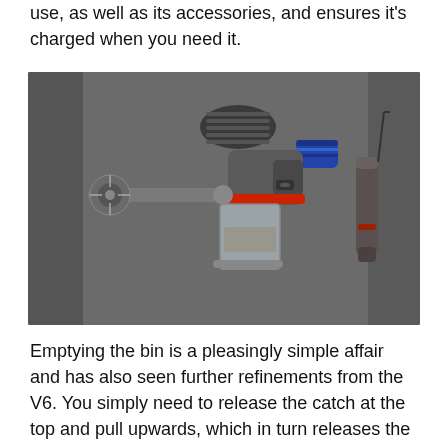use, as well as its accessories, and ensures it's charged when you need it.
[Figure (photo): Dyson handheld vacuum cleaner (V8 model) with accessories laid out on a grey fabric surface. The device body is metallic grey/silver with red and blue accents, showing the clear dust bin, motor head, and a separate crevice tool attachment.]
Emptying the bin is a pleasingly simple affair and has also seen further refinements from the V6. You simply need to release the catch at the top and pull upwards, which in turn releases the lid at the bottom to eject the dirt. In the V6, you found that dirt would get trapped in the bin when emptying, typically along the sides due to static. Now, a